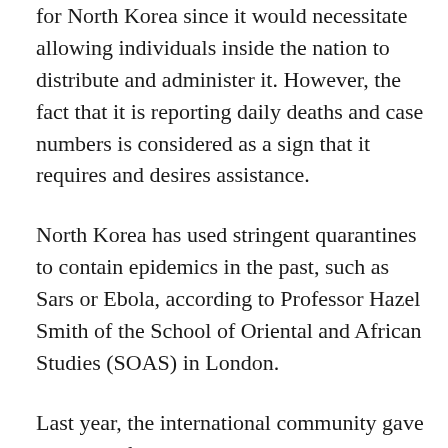for North Korea since it would necessitate allowing individuals inside the nation to distribute and administer it. However, the fact that it is reporting daily deaths and case numbers is considered as a sign that it requires and desires assistance.
North Korea has used stringent quarantines to contain epidemics in the past, such as Sars or Ebola, according to Professor Hazel Smith of the School of Oriental and African Studies (SOAS) in London.
Last year, the international community gave millions of AstraZeneca and Chinese-made vaccines to North Korea, but Pyongyang claimed control of Covid by locking its borders early in January 2020.